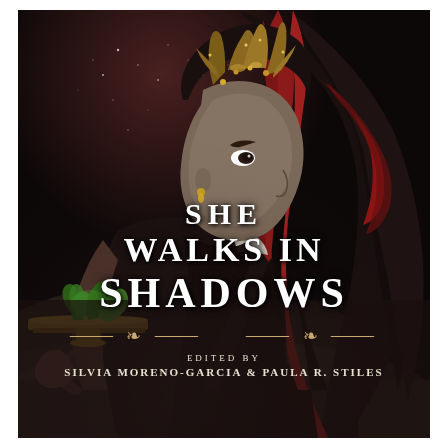[Figure (illustration): Book cover illustration: a dark-skinned woman in profile facing right, wearing an ornate golden horned headdress with long dark and red feathered hair flowing behind her. She holds a gold tray aloft with a green tentacled creature on it. Background is dark smoky browns and blacks with hints of stars. Dark fantasy / Lovecraftian aesthetic.]
SHE WALKS IN SHADOWS
EDITED BY
SILVIA MORENO-GARCIA & PAULA R. STILES